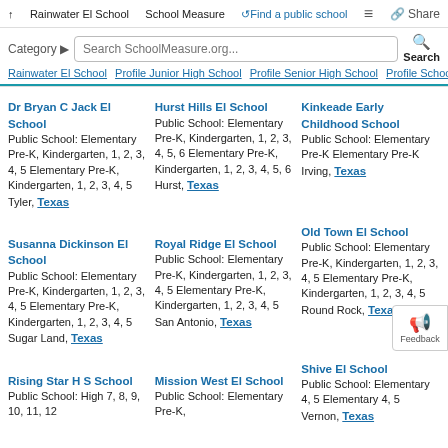↑ Rainwater El School | School Measure | ↺Find a public school | ≡ | Share
Category ▶ Search SchoolMeasure.org... Q Search
Rainwater El School | Profile Junior High School | Profile Senior High School | Profile School
Dr Bryan C Jack El School
Public School: Elementary Pre-K, Kindergarten, 1, 2, 3, 4, 5 Elementary Pre-K, Kindergarten, 1, 2, 3, 4, 5 Tyler, Texas
Hurst Hills El School
Public School: Elementary Pre-K, Kindergarten, 1, 2, 3, 4, 5, 6 Elementary Pre-K, Kindergarten, 1, 2, 3, 4, 5, 6 Hurst, Texas
Kinkeade Early Childhood School
Public School: Elementary Pre-K Elementary Pre-K Irving, Texas
Old Town El School
Public School: Elementary Pre-K, Kindergarten, 1, 2, 3, 4, 5 Elementary Pre-K, Kindergarten, 1, 2, 3, 4, 5 Round Rock, Texas
Susanna Dickinson El School
Public School: Elementary Pre-K, Kindergarten, 1, 2, 3, 4, 5 Elementary Pre-K, Kindergarten, 1, 2, 3, 4, 5 Sugar Land, Texas
Royal Ridge El School
Public School: Elementary Pre-K, Kindergarten, 1, 2, 3, 4, 5 Elementary Pre-K, Kindergarten, 1, 2, 3, 4, 5 San Antonio, Texas
Shive El School
Public School: Elementary 4, 5 Elementary 4, 5 Vernon, Texas
Rising Star H S School
Public School: High 7, 8, 9, 10, 11, 12
Mission West El School
Public School: Elementary Pre-K,